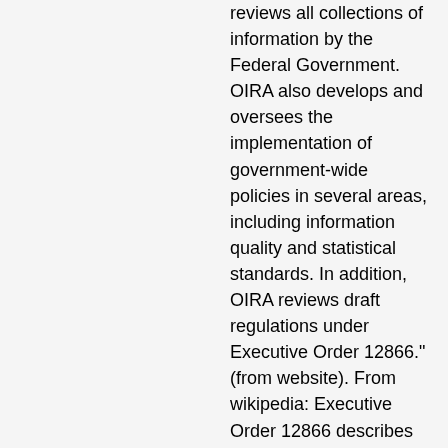reviews all collections of information by the Federal Government. OIRA also develops and oversees the implementation of government-wide policies in several areas, including information quality and statistical standards. In addition, OIRA reviews draft regulations under Executive Order 12866." (from website). From wikipedia: Executive Order 12866 describes OIRA's role in the rulemaking process. In it, the President directs agencies, to the extent permitted by law, to follow certain principles in rulemaking, such as consideration of alternatives and analysis of impacts, both benefits and costs. As the Executive Order directs, OIRA reviews agency draft regulations before publication to ensure agency compliance with this Executive Order.
Mary JORDAN, Editor, Washington Post Live